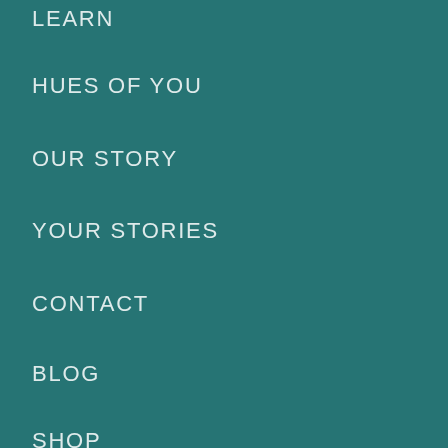LEARN
HUES OF YOU
OUR STORY
YOUR STORIES
CONTACT
BLOG
SHOP
SIGN IN